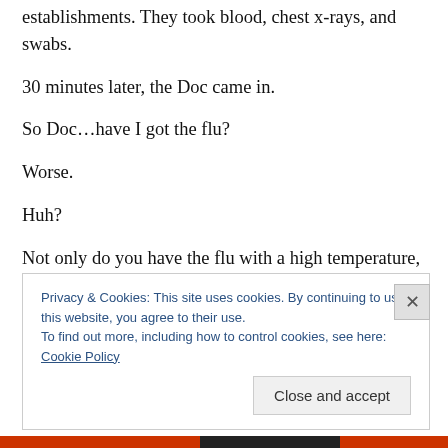establishments. They took blood, chest x-rays, and swabs.
30 minutes later, the Doc came in.
So Doc…have I got the flu?
Worse.
Huh?
Not only do you have the flu with a high temperature, but you also have pneumonia.
Privacy & Cookies: This site uses cookies. By continuing to use this website, you agree to their use.
To find out more, including how to control cookies, see here: Cookie Policy